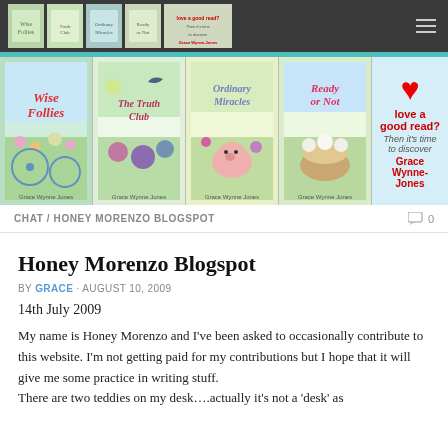[Figure (screenshot): Top navigation bar with book thumbnails and hamburger menu on dark background]
[Figure (illustration): Banner showing four Grace Wynne-Jones book covers (Wise Follies, The Truth Club, Ordinary Miracles, Ready or Not) with a promotional box featuring a red heart and text 'love a good read? Then it's time to discover Grace Wynne-Jones']
CHAT / HONEY MORENZO BLOGSPOT
Honey Morenzo Blogspot
BY GRACE · AUGUST 10, 2009
14th July 2009
My name is Honey Morenzo and I've been asked to occasionally contribute to this website. I'm not getting paid for my contributions but I hope that it will give me some practice in writing stuff. There are two teddies on my desk….actually it's not a 'desk' as